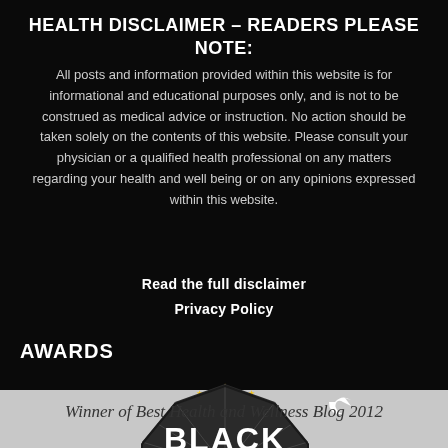HEALTH DISCLAIMER – READERS PLEASE NOTE:
All posts and information provided within this website is for informational and educational purposes only, and is not to be construed as medical advice or instruction. No action should be taken solely on the contents of this website. Please consult your physician or a qualified health professional on any matters regarding your health and well being or on any opinions expressed within this website.
Read the full disclaimer
Privacy Policy
AWARDS
[Figure (logo): Black Weblog Awards 2013 Winner badge — circular badge with gold star border, grey ray burst background, text BLACK at top, red banner with WINNER! 2013 on both sides, WEBLOG AWARDS at bottom. A share/arrow icon appears upper right.]
Winner of Best Health and Wellness Blog 2012